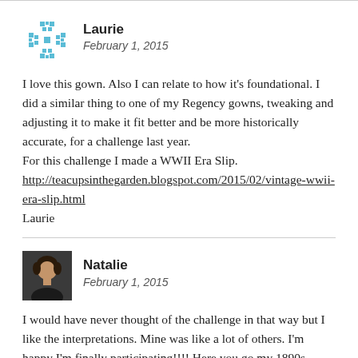[Figure (other): Decorative snowflake avatar icon in blue for user Laurie]
Laurie
February 1, 2015
I love this gown. Also I can relate to how it's foundational. I did a similar thing to one of my Regency gowns, tweaking and adjusting it to make it fit better and be more historically accurate, for a challenge last year.
For this challenge I made a WWII Era Slip.
http://teacupsinthegarden.blogspot.com/2015/02/vintage-wwii-era-slip.html
Laurie
[Figure (photo): Small profile photo of Natalie, a woman with dark hair]
Natalie
February 1, 2015
I would have never thought of the challenge in that way but I like the interpretations. Mine was like a lot of others. I'm happy I'm finally participating!!!! Here you go my 1890s